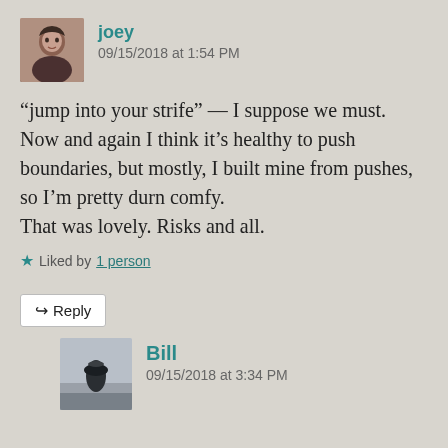[Figure (photo): Avatar photo of user joey — woman with dark hair]
joey
09/15/2018 at 1:54 PM
“jump into your strife” — I suppose we must. Now and again I think it’s healthy to push boundaries, but mostly, I built mine from pushes, so I’m pretty durn comfy.
That was lovely. Risks and all.
★ Liked by 1 person
↪ Reply
[Figure (photo): Avatar photo of user Bill — silhouetted person outdoors]
Bill
09/15/2018 at 3:34 PM